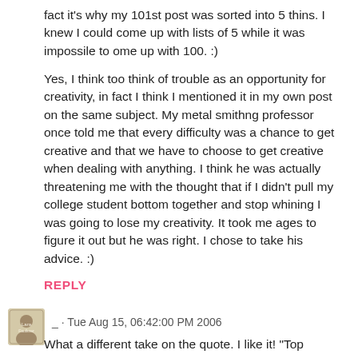fact it's why my 101st post was sorted into 5 thins. I knew I could come up with lists of 5 while it was impossile to ome up with 100. :)
Yes, I think too think of trouble as an opportunity for creativity, in fact I think I mentioned it in my own post on the same subject. My metal smithng professor once told me that every difficulty was a chance to get creative and that we have to choose to get creative when dealing with anything. I think he was actually threatening me with the thought that if I didn't pull my college student bottom together and stop whining I was going to lose my creativity. It took me ages to figure it out but he was right. I chose to take his advice. :)
REPLY
[Figure (other): Small circular avatar image of a user]
_ · Tue Aug 15, 06:42:00 PM 2006
What a different take on the quote. I like it! "Top